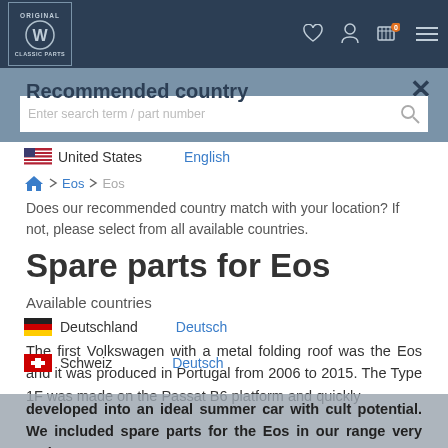[Figure (logo): VW Classic Parts logo in header navigation bar]
VW Classic Parts website header with navigation icons
Enter search term / part number
Recommended country
Does our recommended country match with your location? If not, please select from all available countries.
Available countries
United States — English
Deutschland — Deutsch
Schweiz — Deutsch
Spare parts for Eos
The first Volkswagen with a metal folding roof was the Eos and it was produced in Portugal from 2006 to 2015. The Type 1F was made on the Passat B6 platform and quickly developed into an ideal summer car with cult potential. We included spare parts for the Eos in our range very early on